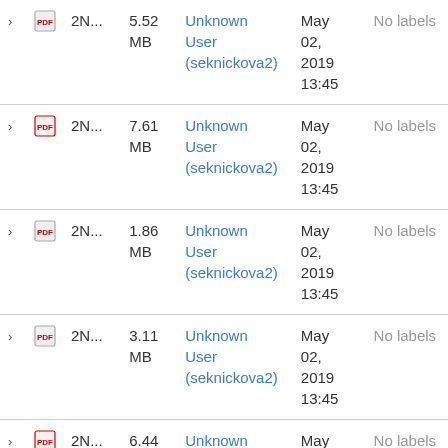|  |  | Name | Size | User | Date | Labels |
| --- | --- | --- | --- | --- | --- | --- |
| › | PDF | 2N... | 5.52 MB | Unknown User (seknickova2) | May 02, 2019 13:45 | No labels |
| › | PDF-red | 2N... | 7.61 MB | Unknown User (seknickova2) | May 02, 2019 13:45 | No labels |
| › | PDF | 2N... | 1.86 MB | Unknown User (seknickova2) | May 02, 2019 13:45 | No labels |
| › | PDF | 2N... | 3.11 MB | Unknown User (seknickova2) | May 02, 2019 13:45 | No labels |
| › | PDF-red | 2N... | 6.44 MB | Unknown User (seknickova2) | May 02, 2019 13:45 | No labels |